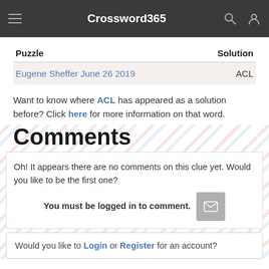Crossword365
| Puzzle | Solution |
| --- | --- |
| Eugene Sheffer June 26 2019 | ACL |
Want to know where ACL has appeared as a solution before? Click here for more information on that word.
Comments
Oh! It appears there are no comments on this clue yet. Would you like to be the first one?
You must be logged in to comment.
Would you like to Login or Register for an account?